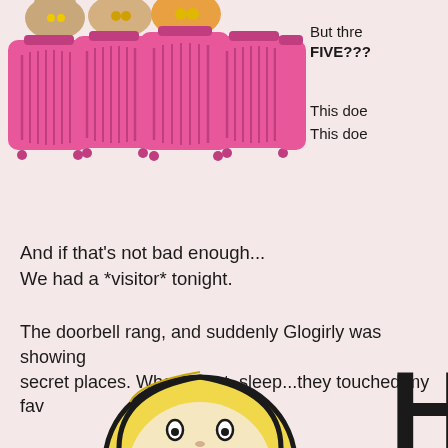[Figure (illustration): Five pink suitcases/luggage in a row with cat faces peeking over the top]
But thre FIVE???
This doe This doe
And if that's not bad enough...
We had a *visitor* tonight.
The doorbell rang, and suddenly Glogirly was showing secret places. Where I eat, sleep...they touched my fav
[Figure (illustration): Cartoon illustration of a blonde girl character and partial letter H on the right]